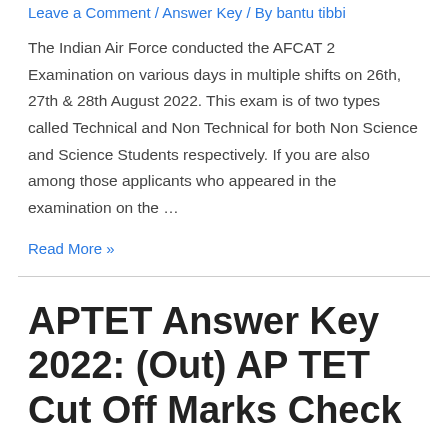Leave a Comment / Answer Key / By bantu tibbi
The Indian Air Force conducted the AFCAT 2 Examination on various days in multiple shifts on 26th, 27th & 28th August 2022. This exam is of two types called Technical and Non Technical for both Non Science and Science Students respectively. If you are also among those applicants who appeared in the examination on the …
Read More »
APTET Answer Key 2022: (Out) AP TET Cut Off Marks Check